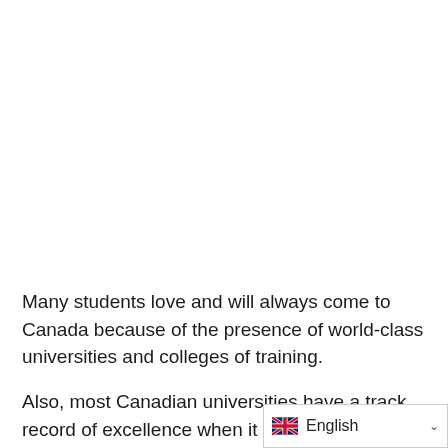Many students love and will always come to Canada because of the presence of world-class universities and colleges of training.
Also, most Canadian universities have a track record of excellence when it comes to academics.